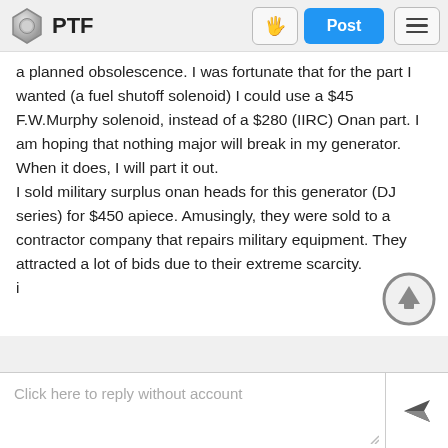PTF
a planned obsolescence. I was fortunate that for the part I wanted (a fuel shutoff solenoid) I could use a $45 F.W.Murphy solenoid, instead of a $280 (IIRC) Onan part. I am hoping that nothing major will break in my generator. When it does, I will part it out.
I sold military surplus onan heads for this generator (DJ series) for $450 apiece. Amusingly, they were sold to a contractor company that repairs military equipment. They attracted a lot of bids due to their extreme scarcity.
i
Click here to reply without account